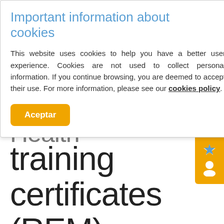Important information about cookies
This website uses cookies to help you have a better user experience. Cookies are not used to collect personal information. If you continue browsing, you are deemed to accept their use. For more information, please see our cookies policy.
Aceptar
training certificates (REM)